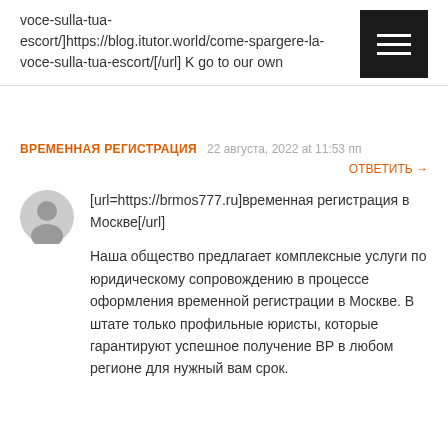voce-sulla-tua-escort/]https://blog.itutor.world/come-spargere-la-voce-sulla-tua-escort/[/url] K go to our own
ВРЕМЕННАЯ РЕГИСТРАЦИЯ  22 августа, 2022 at 11:53 пп
ОТВЕТИТЬ →
[url=https://brmos777.ru]временная регистрация в Москве[/url]
Наша общество предлагает комплексные услуги по юридическому сопровождению в процессе оформления временной регистрации в Москве. В штате только профильные юристы, которые гарантируют успешное получение ВР в любом регионе для нужный вам срок.